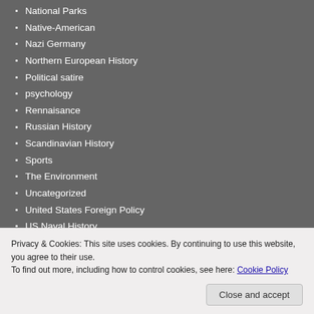National Parks
Native-American
Nazi Germany
Northern European History
Political satire
psychology
Rennaisance
Russian History
Scandinavian History
Sports
The Environment
Uncategorized
United States Foreign Policy
US Naval History
Vietnam
War in Iraq
War on Terror
Privacy & Cookies: This site uses cookies. By continuing to use this website, you agree to their use. To find out more, including how to control cookies, see here: Cookie Policy